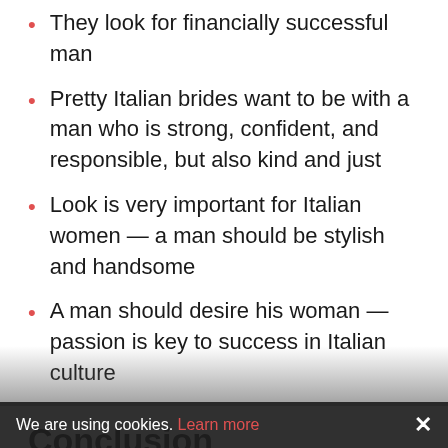They look for financially successful man
Pretty Italian brides want to be with a man who is strong, confident, and responsible, but also kind and just
Look is very important for Italian women — a man should be stylish and handsome
A man should desire his woman — passion is key to success in Italian culture
Conclusion
Now, you know more about Italian singles online — you are ready to use a dating platform and successfully meet with girls from Italy. Information in this guide is just tips that will allow you to find and meet a great Italian date — the overall
We are using cookies. Learn more  ×